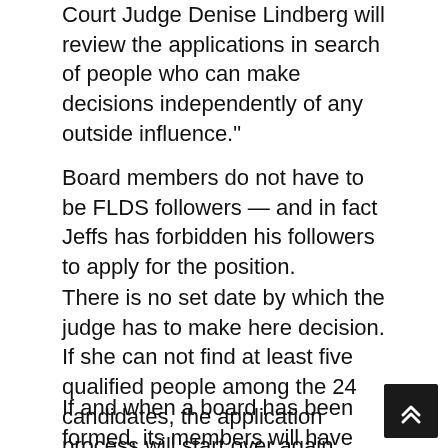Court Judge Denise Lindberg will review the applications in search of people who can make decisions independently of any outside influence."
Board members do not have to be FLDS followers — and in fact Jeffs has forbidden his followers to apply for the position.
There is no set date by which the judge has to make here decision. If she can not find at least five qualified people among the 24 candidates, the application process will start over again.
If and when a board has been formed, its members will have their work cut out for